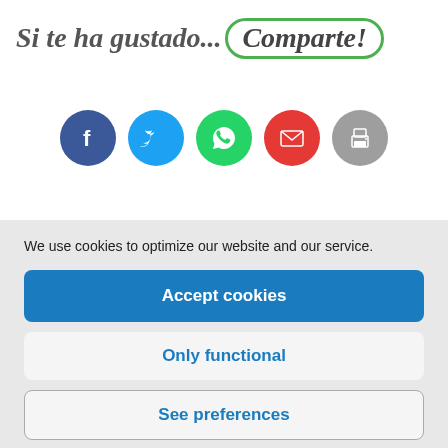Si te ha gustado... Comparte!
[Figure (infographic): Row of 5 social sharing icon circles: Facebook (dark blue, f), Twitter (light blue, bird), WhatsApp (green, phone chat), Email (red, envelope), Print (grey, printer)]
We use cookies to optimize our website and our service.
Accept cookies
Only functional
See preferences
Política de cookies ENG | Política de privacidad ENG | Términos legales ENG